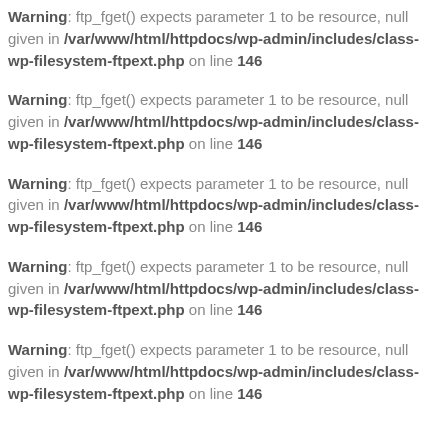Warning: ftp_fget() expects parameter 1 to be resource, null given in /var/www/html/httpdocs/wp-admin/includes/class-wp-filesystem-ftpext.php on line 146
Warning: ftp_fget() expects parameter 1 to be resource, null given in /var/www/html/httpdocs/wp-admin/includes/class-wp-filesystem-ftpext.php on line 146
Warning: ftp_fget() expects parameter 1 to be resource, null given in /var/www/html/httpdocs/wp-admin/includes/class-wp-filesystem-ftpext.php on line 146
Warning: ftp_fget() expects parameter 1 to be resource, null given in /var/www/html/httpdocs/wp-admin/includes/class-wp-filesystem-ftpext.php on line 146
Warning: ftp_fget() expects parameter 1 to be resource, null given in /var/www/html/httpdocs/wp-admin/includes/class-wp-filesystem-ftpext.php on line 146